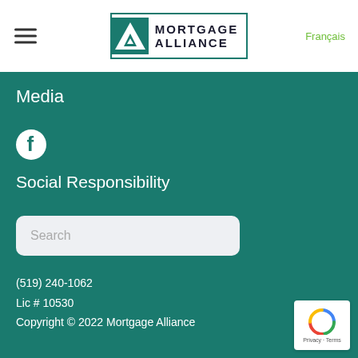[Figure (logo): Mortgage Alliance logo with teal triangle and A symbol inside a bordered rectangle, with hamburger menu icon on left and Français link on right]
Media
[Figure (illustration): Facebook social media icon (circle with f)]
Social Responsibility
Search
(519) 240-1062
Lic # 10530
Copyright © 2022 Mortgage Alliance